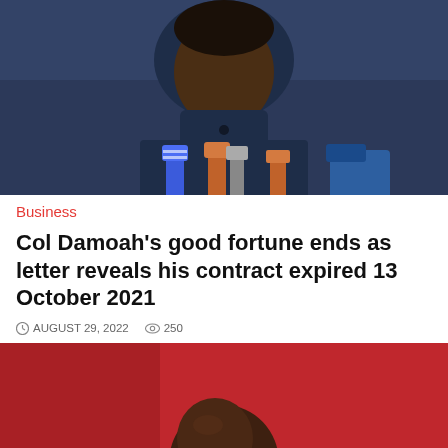[Figure (photo): Man in dark navy blue traditional attire at a press conference with multiple microphones in front of him]
Business
Col Damoah's good fortune ends as letter reveals his contract expired 13 October 2021
AUGUST 29, 2022  250
[Figure (photo): Bald man against a red background, head and shoulders visible]